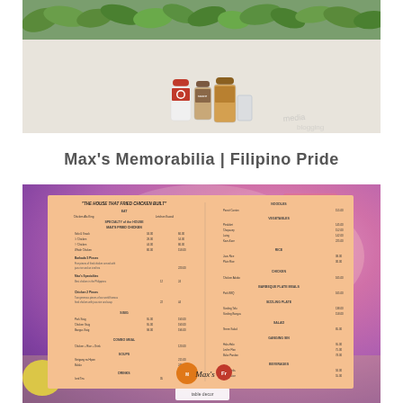[Figure (photo): Photo of condiment sauce bottles and a glass on a table with green foliage in the background]
Max's Memorabilia | Filipino Pride
[Figure (photo): Photo of a Max's restaurant menu card displayed on a table under purple/pink lighting, showing a multi-column menu with 'The House That Fried Chicken Built' heading, with the Max's logo visible at the bottom of the menu]